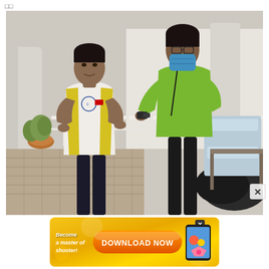□□
[Figure (photo): Two people at an outdoor area. A young man in a white and yellow Olympic Day jersey is receiving something from a person in a green shirt wearing a blue face mask. There is a white railing between them, with bags and equipment in the background. The setting appears to be under a covered walkway.]
[Figure (infographic): Advertisement banner with gold/yellow background. Left side shows italic text 'Become a master of shooter!' and a large orange button in the center reads 'DOWNLOAD NOW' in white bold text. Right side shows a phone icon with colorful game graphics.]